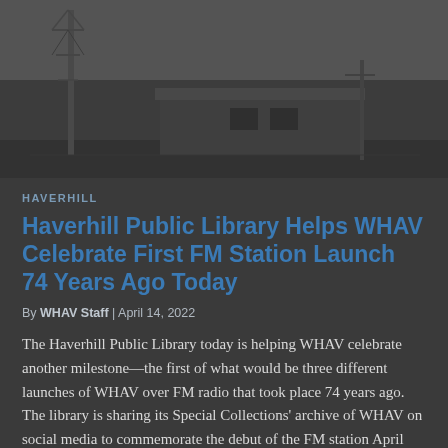[Figure (photo): Black and white photograph of a radio station building and transmission tower on a hill]
HAVERHILL
Haverhill Public Library Helps WHAV Celebrate First FM Station Launch 74 Years Ago Today
By WHAV Staff | April 14, 2022
The Haverhill Public Library today is helping WHAV celebrate another milestone—the first of what would be three different launches of WHAV over FM radio that took place 74 years ago. The library is sharing its Special Collections' archive of WHAV on social media to commemorate the debut of the FM station April 14, 1948. The original FM signal came a year after the launch of an AM station. The FM would turn out to be ahead of